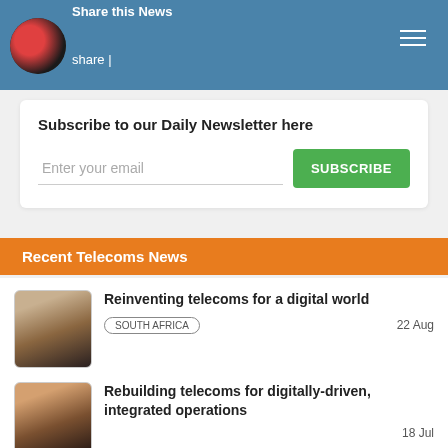Share this News
Subscribe to our Daily Newsletter here
Enter your email
SUBSCRIBE
Recent Telecoms News
Reinventing telecoms for a digital world
SOUTH AFRICA  22 Aug
Rebuilding telecoms for digitally-driven, integrated operations
18 Jul
Hayo Telecom selects Telesmart.io to accelerate how It delivers global numbers to customers